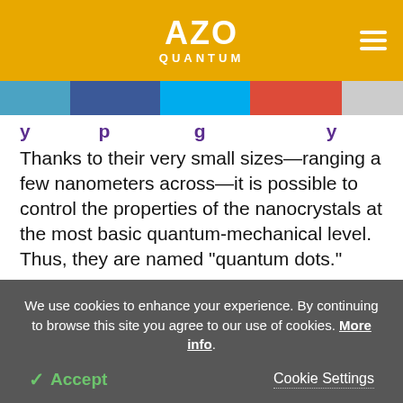AZO QUANTUM
Thanks to their very small sizes—ranging a few nanometers across—it is possible to control the properties of the nanocrystals at the most basic quantum-mechanical level. Thus, they are named “quantum dots.”
The quantum dots’ size-adjustable properties can also enable efficient harnessing of sunlight, which is
We use cookies to enhance your experience. By continuing to browse this site you agree to our use of cookies. More info.
Accept
Cookie Settings